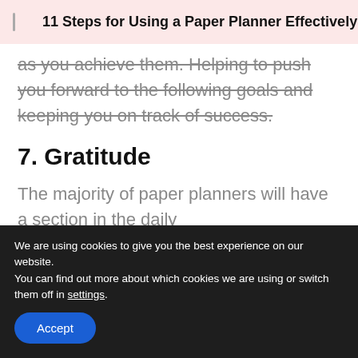11 Steps for Using a Paper Planner Effectively
as you achieve them. Helping to push you forward to the following goals and keeping you on track of success.
7. Gratitude
The majority of paper planners will have a section in the daily
We are using cookies to give you the best experience on our website.
You can find out more about which cookies we are using or switch them off in settings.